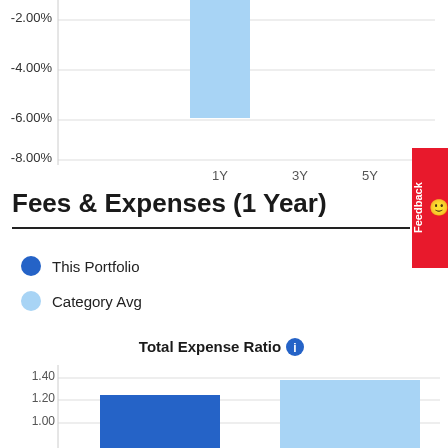[Figure (bar-chart): Partial bar chart showing negative returns, only 1Y bar visible at about -6.5%]
Fees & Expenses (1 Year)
This Portfolio
Category Avg
[Figure (bar-chart): Total Expense Ratio]